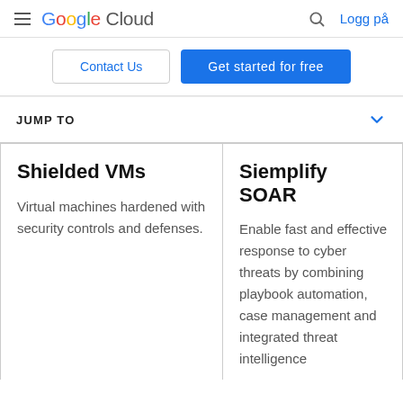Google Cloud — Logg på
Contact Us
Get started for free
JUMP TO
Shielded VMs
Virtual machines hardened with security controls and defenses.
Siemplify SOAR
Enable fast and effective response to cyber threats by combining playbook automation, case management and integrated threat intelligence